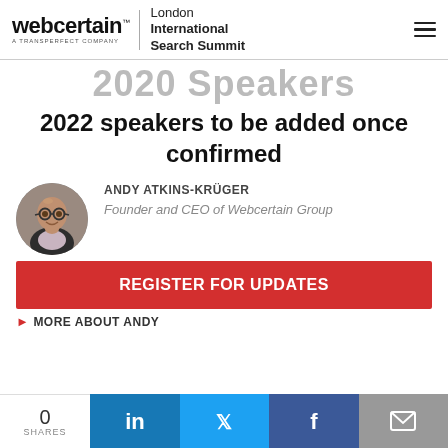webcertain™ A TRANSPERFECT COMPANY | London International Search Summit
2020 Speakers
2022 speakers to be added once confirmed
[Figure (photo): Circular headshot photo of Andy Atkins-Krüger, a bald man with glasses wearing a dark suit jacket]
ANDY ATKINS-KRÜGER
Founder and CEO of Webcertain Group
REGISTER FOR UPDATES
▸ MORE ABOUT ANDY
0 SHARES | LinkedIn | Twitter | Facebook | Email